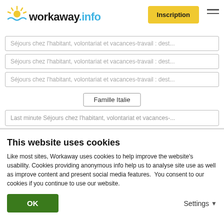workaway.info — Inscription
Séjours chez l'habitant, volontariat et vacances-travail : dest...
Séjours chez l'habitant, volontariat et vacances-travail : dest...
Séjours chez l'habitant, volontariat et vacances-travail : dest...
Famille Italie
Last minute Séjours chez l'habitant, volontariat et vacances-...
♥ Mes hôtes préférés  0
This website uses cookies
Like most sites, Workaway uses cookies to help improve the website's usability. Cookies providing anonymous info help us to analyse site use as well as improve content and present social media features.  You consent to our cookies if you continue to use our website.
OK
Settings